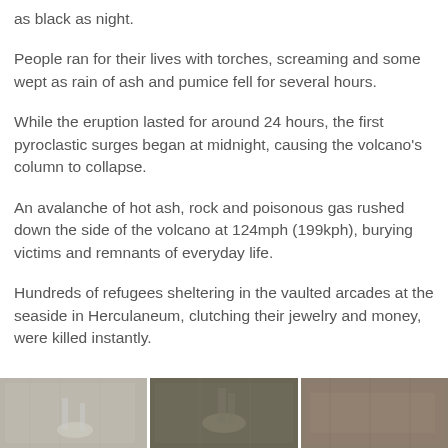as black as night.
People ran for their lives with torches, screaming and some wept as rain of ash and pumice fell for several hours.
While the eruption lasted for around 24 hours, the first pyroclastic surges began at midnight, causing the volcano's column to collapse.
An avalanche of hot ash, rock and poisonous gas rushed down the side of the volcano at 124mph (199kph), burying victims and remnants of everyday life.
Hundreds of refugees sheltering in the vaulted arcades at the seaside in Herculaneum, clutching their jewelry and money, were killed instantly.
[Figure (photo): Photograph strip showing excavated skeletal remains or ruins from Herculaneum/Pompeii, divided into three segments with a dark background.]